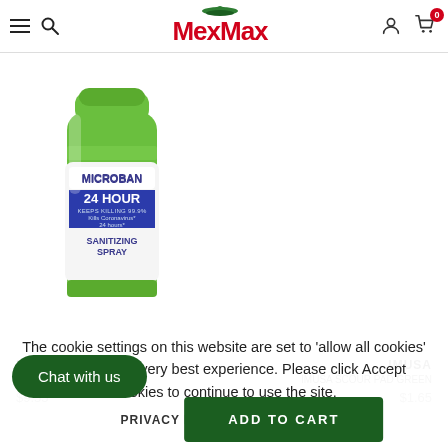MexMax header navigation with hamburger menu, search, logo, user icon, and cart (0)
[Figure (photo): Microban 24 Hour Sanitizing Spray can with green cap and green/white label]
MICROBAN
IMUSA
MICROBAN 24HR AEROSOL
IMUSA SCOUR PAD GREEN
$9.55
$1.65
The cookie settings on this website are set to 'allow all cookies' to give you the very best experience. Please click Accept Cookies to continue to use the site.
PRIVACY POLICY   ACCEPT ✔
Chat with us
ADD TO CART